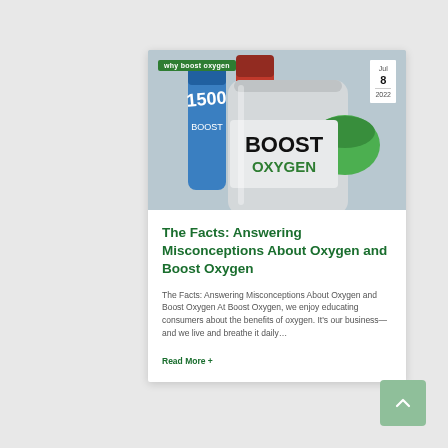[Figure (photo): Boost Oxygen canisters — green, blue, red variants — arranged with one prominent green-capped silver canister labeled BOOST OXYGEN in foreground]
The Facts: Answering Misconceptions About Oxygen and Boost Oxygen
The Facts: Answering Misconceptions About Oxygen and Boost Oxygen At Boost Oxygen, we enjoy educating consumers about the benefits of oxygen. It's our business—and we live and breathe it daily…
Read More +